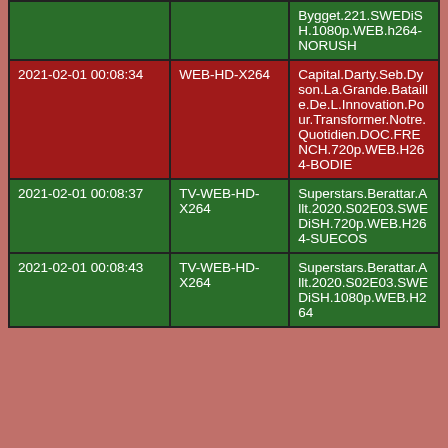|  |  | Bygget.221.SWEDiSH.1080p.WEB.h264-NORUSH |
| 2021-02-01 00:08:34 | WEB-HD-X264 | Capital.Darty.Seb.Dyson.La.Grande.Bataille.De.L.Innovation.Pour.Transformer.Notre.Quotidien.DOC.FRENCH.720p.WEB.H264-BODIE |
| 2021-02-01 00:08:37 | TV-WEB-HD-X264 | Superstars.Berattar.Allt.2020.S02E03.SWEDiSH.720p.WEB.H264-SUECOS |
| 2021-02-01 00:08:43 | TV-WEB-HD-X264 | Superstars.Berattar.Allt.2020.S02E03.SWEDiSH.1080p.WEB.H264 |